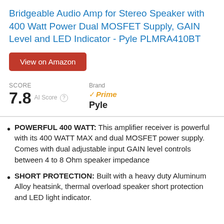Bridgeable Audio Amp for Stereo Speaker with 400 Watt Power Dual MOSFET Supply, GAIN Level and LED Indicator - Pyle PLMRA410BT
View on Amazon
SCORE 7.8 AI Score   Brand ✓Prime Pyle
POWERFUL 400 WATT: This amplifier receiver is powerful with its 400 WATT MAX and dual MOSFET power supply. Comes with dual adjustable input GAIN level controls between 4 to 8 Ohm speaker impedance
SHORT PROTECTION: Built with a heavy duty Aluminum Alloy heatsink, thermal overload speaker short protection and LED light indicator.